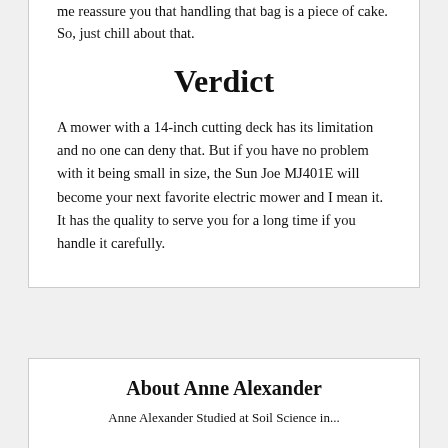me reassure you that handling that bag is a piece of cake. So, just chill about that.
Verdict
A mower with a 14-inch cutting deck has its limitation and no one can deny that. But if you have no problem with it being small in size, the Sun Joe MJ401E will become your next favorite electric mower and I mean it. It has the quality to serve you for a long time if you handle it carefully.
About Anne Alexander
Anne Alexander Studied at Soil Science in...